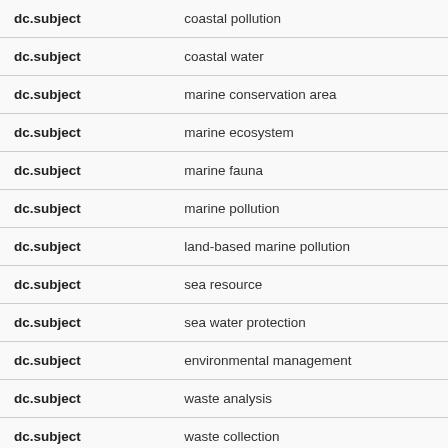| Field | Value |
| --- | --- |
| dc.subject | coastal pollution |
| dc.subject | coastal water |
| dc.subject | marine conservation area |
| dc.subject | marine ecosystem |
| dc.subject | marine fauna |
| dc.subject | marine pollution |
| dc.subject | land-based marine pollution |
| dc.subject | sea resource |
| dc.subject | sea water protection |
| dc.subject | environmental management |
| dc.subject | waste analysis |
| dc.subject | waste collection |